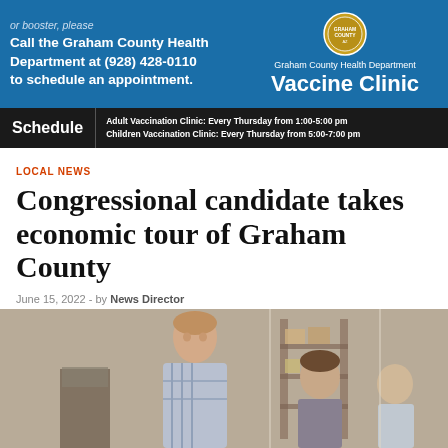[Figure (infographic): Graham County Health Department Vaccine Clinic advertisement banner. Left side (blue background) shows partial italic text 'or booster, please' and bold white text 'Call the Graham County Health Department at (928) 428-0110 to schedule an appointment.' Right side shows county seal logo, 'Graham County Health Department' text, and large 'Vaccine Clinic' heading. Below is a dark schedule bar listing: 'Adult Vaccination Clinic: Every Thursday from 1:00-5:00 pm' and 'Children Vaccination Clinic: Every Thursday from 5:00-7:00 pm'. A yellow bar at the bottom reads 'The vaccination clinic is located at 627 W. Main Street in Safford'.]
LOCAL NEWS
Congressional candidate takes economic tour of Graham County
June 15, 2022  -  by News Director
[Figure (photo): Photo showing people inside what appears to be a warehouse or storage facility. On the left is a young man with short hair wearing a plaid shirt, speaking or listening. In the center-right is a woman facing the camera, and partially visible behind her is another person. Shelving and boxes are visible in the background.]